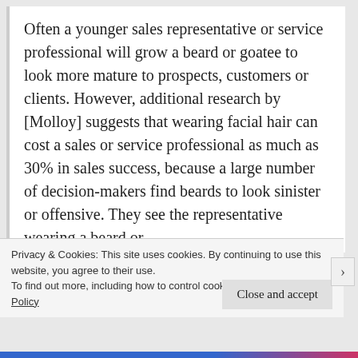Often a younger sales representative or service professional will grow a beard or goatee to look more mature to prospects, customers or clients. However, additional research by [Molloy] suggests that wearing facial hair can cost a sales or service professional as much as 30% in sales success, because a large number of decision-makers find beards to look sinister or offensive. They see the representative wearing a beard or
Privacy & Cookies: This site uses cookies. By continuing to use this website, you agree to their use.
To find out more, including how to control cookies, see here: Cookie Policy
Close and accept